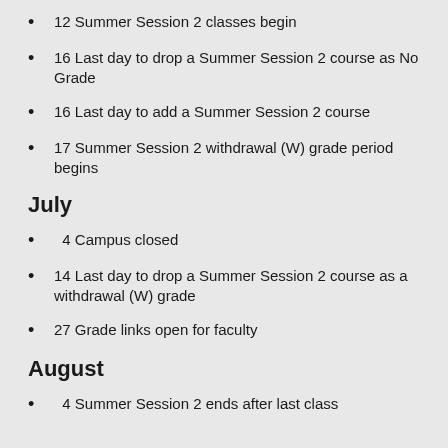12 Summer Session 2 classes begin
16 Last day to drop a Summer Session 2 course as No Grade
16 Last day to add a Summer Session 2 course
17 Summer Session 2 withdrawal (W) grade period begins
July
4 Campus closed
14 Last day to drop a Summer Session 2 course as a withdrawal (W) grade
27 Grade links open for faculty
August
4 Summer Session 2 ends after last class